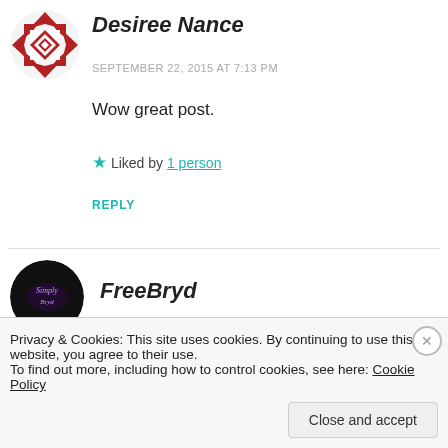[Figure (illustration): Red and white geometric quilt-pattern avatar for Desiree Nance]
Desiree Nance
SEPTEMBER 22, 2015 AT 7:13 PM
Wow great post.
★ Liked by 1 person
REPLY
[Figure (photo): Dark circular avatar with purple script text for FreeBryd]
FreeBryd
Privacy & Cookies: This site uses cookies. By continuing to use this website, you agree to their use. To find out more, including how to control cookies, see here: Cookie Policy
Close and accept